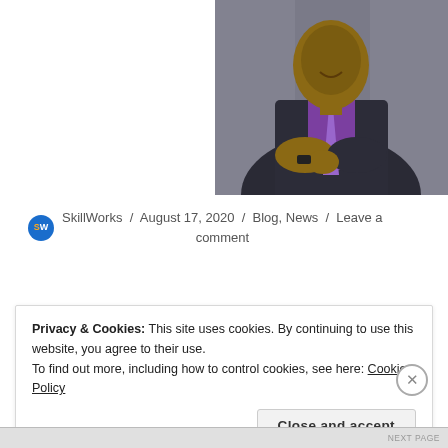[Figure (photo): Professional headshot of a man in a dark suit with purple shirt and tie, arms crossed, photographed against a blurred building background.]
SkillWorks / August 17, 2020 / Blog, News / Leave a comment
Privacy & Cookies: This site uses cookies. By continuing to use this website, you agree to their use.
To find out more, including how to control cookies, see here: Cookie Policy
Close and accept